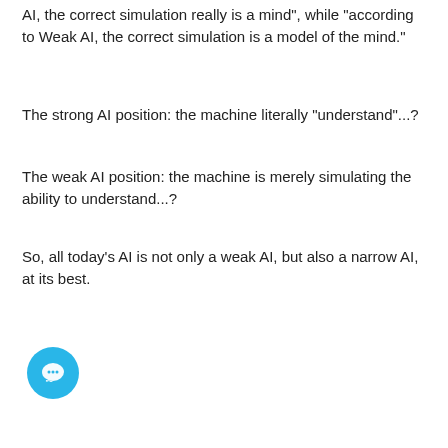AI, the correct simulation really is a mind", while "according to Weak AI, the correct simulation is a model of the mind."
The strong AI position: the machine literally "understand"...?
The weak AI position: the machine is merely simulating the ability to understand...?
So, all today's AI is not only a weak AI, but also a narrow AI, at its best.
| Weak AI | Strong AI |
| --- | --- |
| I is simply the view th...ntelligent behavior can be modeled and used by ... | Strong AI refers to a hypothetical machine that exhibits human cognitive abiliti... |